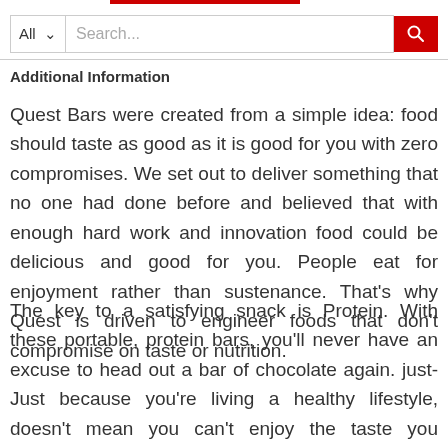Additional Information
Quest Bars were created from a simple idea: food should taste as good as it is good for you with zero compromises. We set out to deliver something that no one had done before and believed that with enough hard work and innovation food could be delicious and good for you. People eat for enjoyment rather than sustenance. That’s why Quest is driven to engineer foods that don’t compromise on taste or nutrition.
The key to a satisfying snack is Protein. With these portable, protein bars, you’ll never have an excuse to head out a bar of chocolate again. just-Just because you’re living a healthy lifestyle, doesn’t mean you can’t enjoy the taste you deserve.